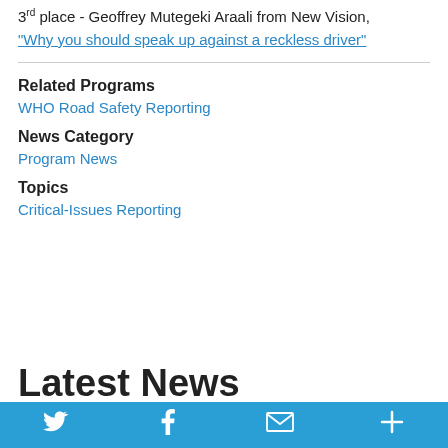3rd place - Geoffrey Mutegeki Araali from New Vision, "Why you should speak up against a reckless driver"
Related Programs
WHO Road Safety Reporting
News Category
Program News
Topics
Critical-Issues Reporting
Latest News
Twitter Facebook Mail Plus